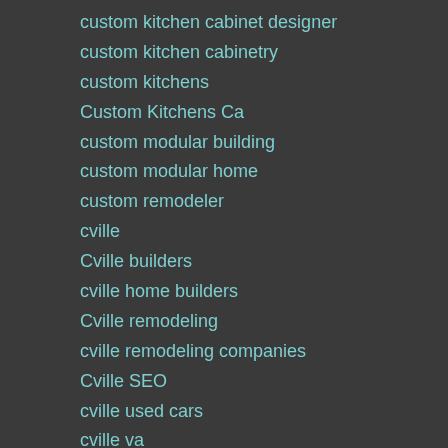custom kitchen cabinet designer
custom kitchen cabinetry
custom kitchens
Custom Kitchens Ca
custom modular building
custom modular home
custom remodeler
cville
Cville builders
cville home builders
Cville remodeling
cville remodeling companies
Cville SEO
cville used cars
cville va
Cville Va Injury Attorneys
CvilleSEO.com